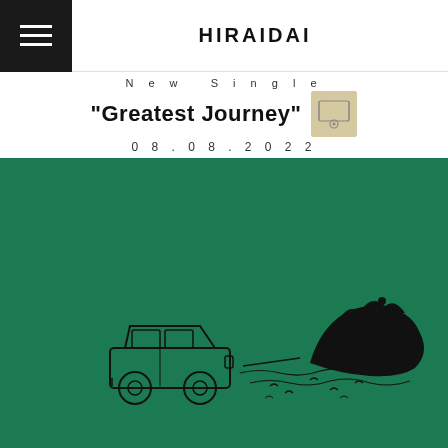HIRAIDAI
New Single "Greatest Journey" 08.08.2022
[Figure (illustration): Album art for 'Greatest Journey' by Hiraidai. Dark green background with a line-drawing illustration of a station wagon car on the left side, connected by a line to a dark silhouette of a rocky island with a person standing on top, surrounded by water with birds flying nearby.]